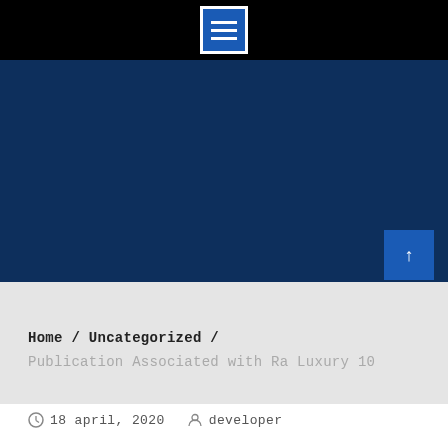[Figure (screenshot): Black navigation bar with blue hamburger/menu icon (three white horizontal lines) centered on dark background]
[Figure (screenshot): Dark navy blue banner section]
Home / Uncategorized /
Publication Associated with Ra Luxury 10
18 april, 2020   developer